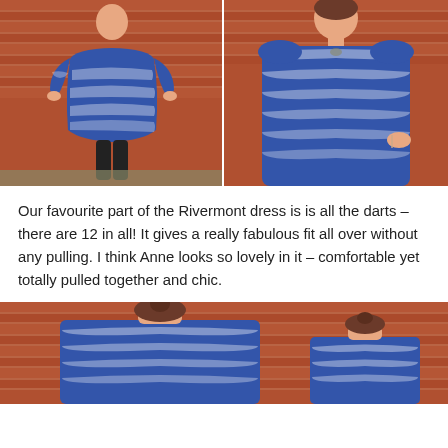[Figure (photo): Two side-by-side photos of a woman wearing a blue and white tie-dye patterned short-sleeve dress against a brick wall background. Left photo shows full body view; right photo shows a closer upper-body view.]
Our favourite part of the Rivermont dress is is all the darts – there are 12 in all! It gives a really fabulous fit all over without any pulling. I think Anne looks so lovely in it – comfortable yet totally pulled together and chic.
[Figure (photo): Partial photo showing the back view of the woman wearing the blue and white tie-dye dress, with brick wall background.]